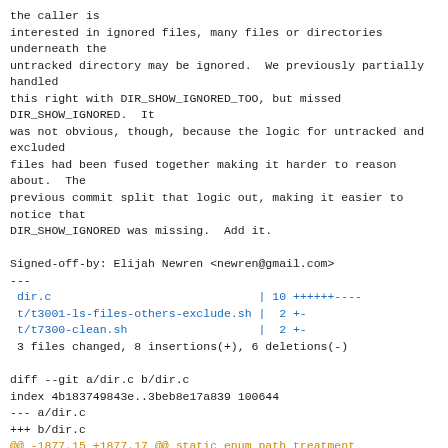the caller is
interested in ignored files, many files or directories underneath the
untracked directory may be ignored.  We previously partially handled
this right with DIR_SHOW_IGNORED_TOO, but missed DIR_SHOW_IGNORED.  It
was not obvious, though, because the logic for untracked and excluded
files had been fused together making it harder to reason about.  The
previous commit split that logic out, making it easier to notice that
DIR_SHOW_IGNORED was missing.  Add it.

Signed-off-by: Elijah Newren <newren@gmail.com>
---
 dir.c                            | 10 ++++++----
 t/t3001-ls-files-others-exclude.sh |  2 +-
 t/t7300-clean.sh                 |  2 +-
 3 files changed, 8 insertions(+), 6 deletions(-)

diff --git a/dir.c b/dir.c
index 4b183749843e..3beb8e17a839 100644
--- a/dir.c
+++ b/dir.c
@@ -1877,15 +1877,17 @@ static enum path_treatment
treat_directory(struct dir_struct *dir,

        /*